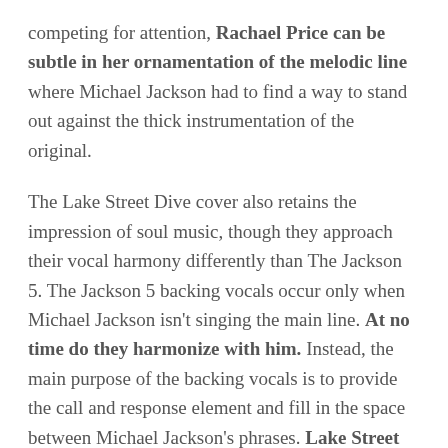competing for attention, Rachael Price can be subtle in her ornamentation of the melodic line where Michael Jackson had to find a way to stand out against the thick instrumentation of the original.

The Lake Street Dive cover also retains the impression of soul music, though they approach their vocal harmony differently than The Jackson 5. The Jackson 5 backing vocals occur only when Michael Jackson isn't singing the main line. At no time do they harmonize with him. Instead, the main purpose of the backing vocals is to provide the call and response element and fill in the space between Michael Jackson's phrases. Lake Street Dive, on the other hand, performs no vocal call